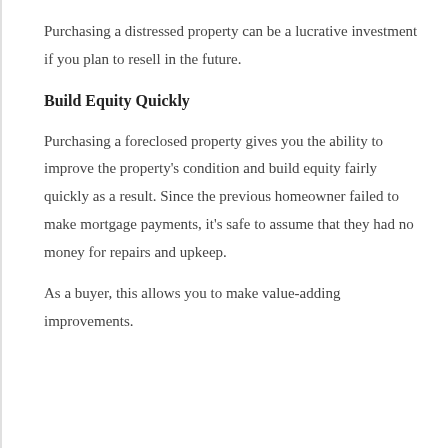Purchasing a distressed property can be a lucrative investment if you plan to resell in the future.
Build Equity Quickly
Purchasing a foreclosed property gives you the ability to improve the property's condition and build equity fairly quickly as a result. Since the previous homeowner failed to make mortgage payments, it's safe to assume that they had no money for repairs and upkeep.
As a buyer, this allows you to make value-adding improvements.